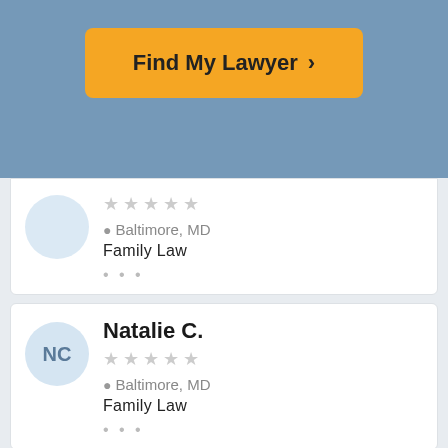[Figure (screenshot): Find My Lawyer button with chevron on blue background]
Baltimore, MD
Family Law
Natalie C.
Baltimore, MD
Family Law
Martina E.
Baltimore, MD